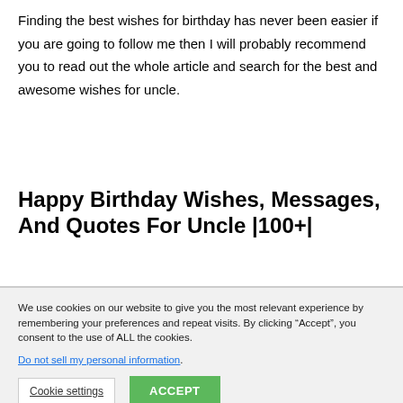Finding the best wishes for birthday has never been easier if you are going to follow me then I will probably recommend you to read out the whole article and search for the best and awesome wishes for uncle.
Happy Birthday Wishes, Messages, And Quotes For Uncle |100+|
We use cookies on our website to give you the most relevant experience by remembering your preferences and repeat visits. By clicking “Accept”, you consent to the use of ALL the cookies.
Do not sell my personal information.
Cookie settings  ACCEPT